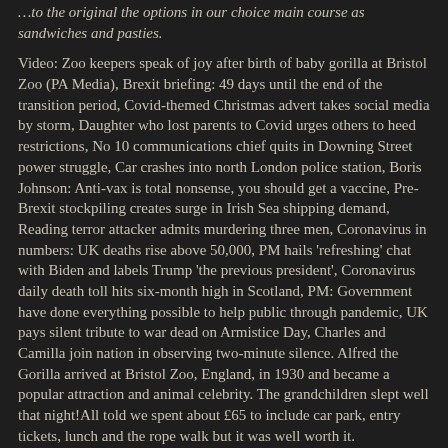sandwiches and pasties.
Video: Zoo keepers speak of joy after birth of baby gorilla at Bristol Zoo (PA Media), Brexit briefing: 49 days until the end of the transition period, Covid-themed Christmas advert takes social media by storm, Daughter who lost parents to Covid urges others to heed restrictions, No 10 communications chief quits in Downing Street power struggle, Car crashes into north London police station, Boris Johnson: Anti-vax is total nonsense, you should get a vaccine, Pre-Brexit stockpiling creates surge in Irish Sea shipping demand, Reading terror attacker admits murdering three men, Coronavirus in numbers: UK deaths rise above 50,000, PM hails 'refreshing' chat with Biden and labels Trump 'the previous president', Coronavirus daily death toll hits six-month high in Scotland, PM: Government have done everything possible to help public through pandemic, UK pays silent tribute to war dead on Armistice Day, Charles and Camilla join nation in observing two-minute silence. Alfred the Gorilla arrived at Bristol Zoo, England, in 1930 and became a popular attraction and animal celebrity. The grandchildren slept well that night!All told we spent about £65 to include car park, entry tickets, lunch and the rope walk but it was well worth it.
"She's a very attentive mother and very nurturing and you see lots of suckling from the baby, and the baby looks really strong and...